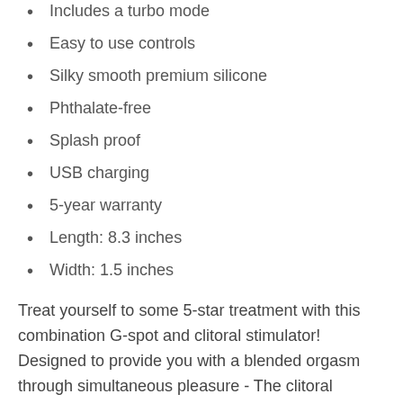Includes a turbo mode
Easy to use controls
Silky smooth premium silicone
Phthalate-free
Splash proof
USB charging
5-year warranty
Length: 8.3 inches
Width: 1.5 inches
Treat yourself to some 5-star treatment with this combination G-spot and clitoral stimulator! Designed to provide you with a blended orgasm through simultaneous pleasure - The clitoral suction arm breathes and sucks on your clitoris while the pulsing shaft rhythmically taps the G-